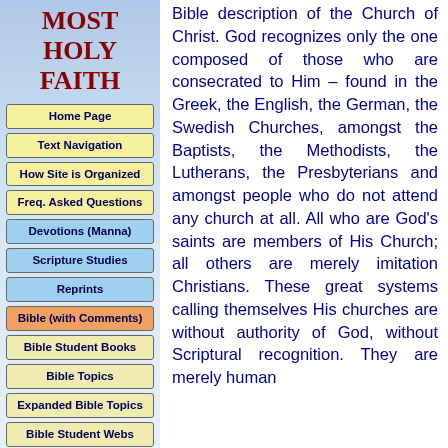MOST HOLY FAITH
Home Page
Text Navigation
How Site is Organized
Freq. Asked Questions
Devotions (Manna)
Scripture Studies
Reprints
Bible (with Comments)
Bible Student Books
Bible Topics
Expanded Bible Topics
Bible Student Webs
Miscellaneous
Bible description of the Church of Christ. God recognizes only the one composed of those who are consecrated to Him – found in the Greek, the English, the German, the Swedish Churches, amongst the Baptists, the Methodists, the Lutherans, the Presbyterians and amongst people who do not attend any church at all. All who are God's saints are members of His Church; all others are merely imitation Christians. These great systems calling themselves His churches are without authority of God, without Scriptural recognition. They are merely human